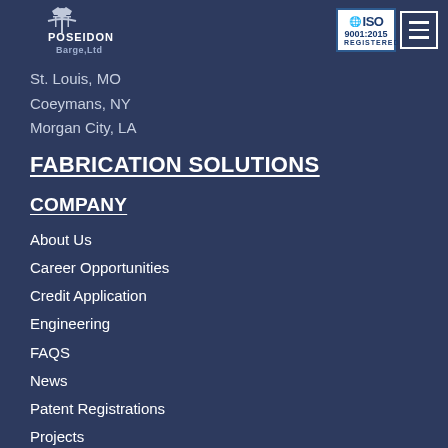[Figure (logo): Poseidon Barge, Ltd logo with stylized figure and trident]
[Figure (logo): ISO 9001:2015 REGISTERED certification badge]
St. Louis, MO
Coeymans, NY
Morgan City, LA
FABRICATION SOLUTIONS
COMPANY
About Us
Career Opportunities
Credit Application
Engineering
FAQS
News
Patent Registrations
Projects
CONTACT US